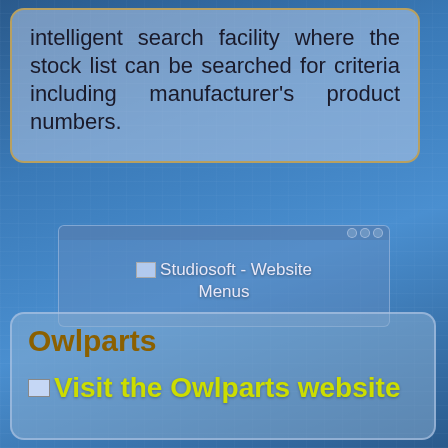intelligent search facility where the stock list can be searched for criteria including manufacturer's product numbers.
[Figure (screenshot): Screenshot of Studiosoft website menus interface with browser chrome]
Studiosoft - Website Menus
Owlparts
Visit the Owlparts website